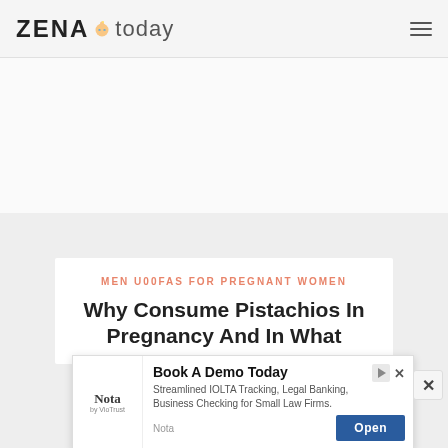ZENA today
[Figure (logo): ZENA today website logo with baby face icon between ZENA and today text]
[Figure (other): Hamburger menu icon (three horizontal lines) in the top right corner]
[Figure (other): Advertisement placeholder area (light gray/white background)]
MEN U00FAS FOR PREGNANT WOMEN
Why Consume Pistachios In Pregnancy And In What
[Figure (screenshot): Popup advertisement for Nota (by VioTrust) reading: Book A Demo Today. Streamlined IOLTA Tracking, Legal Banking, Business Checking for Small Law Firms. With Open button.]